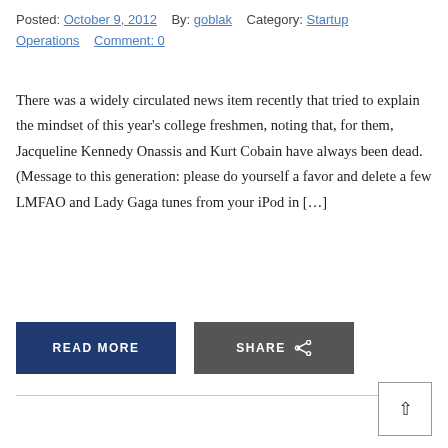Posted: October 9, 2012   By: goblak   Category: Startup Operations   Comment: 0
There was a widely circulated news item recently that tried to explain the mindset of this year's college freshmen, noting that, for them, Jacqueline Kennedy Onassis and Kurt Cobain have always been dead. (Message to this generation: please do yourself a favor and delete a few LMFAO and Lady Gaga tunes from your iPod in […]
READ MORE
SHARE